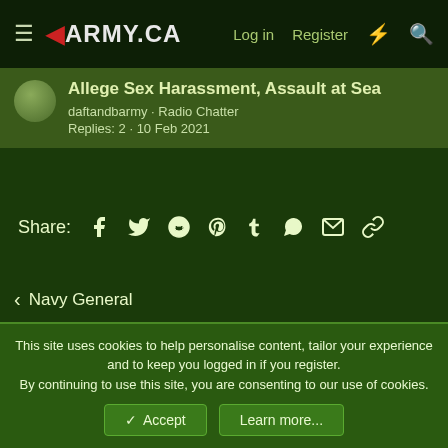ARMY.CA — Log in | Register
Allege Sex Harassment, Assault at Sea
daftandbarmy · Radio Chatter
Replies: 2 · 10 Feb 2021
Share: [Facebook] [Twitter] [Reddit] [Pinterest] [Tumblr] [WhatsApp] [Email] [Link]
< Navy General
Default style  English (CA)
Contact us  Terms and rules  Privacy policy  Help  Home  [RSS]
Community platform by XenForo® © 2010-2022 XenForo Ltd.
This site uses cookies to help personalise content, tailor your experience and to keep you logged in if you register.
By continuing to use this site, you are consenting to our use of cookies.
[Accept] [Learn more...]